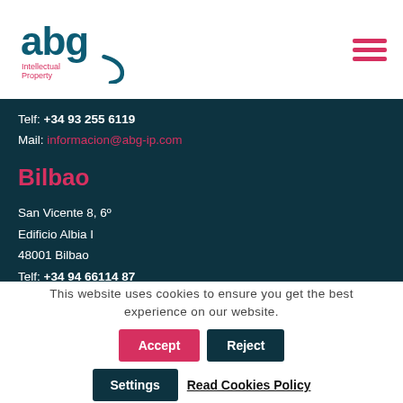[Figure (logo): ABG Intellectual Property logo in teal and pink]
Telf: +34 93 255 6119
Mail: informacion@abg-ip.com
Bilbao
San Vicente 8, 6º
Edificio Albia I
48001 Bilbao
Telf: +34 94 66114 87
Mail: informacion@abg-ip.com
This website uses cookies to ensure you get the best experience on our website.
Accept
Reject
Settings
Read Cookies Policy